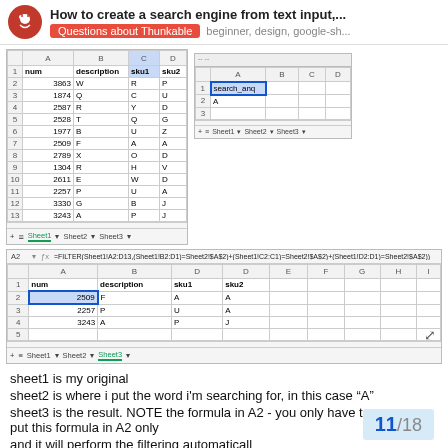How to create a search engine from text input,... Questions about Thunkable  beginner, design, google-sh...
[Figure (screenshot): Google Sheets screenshot showing Sheet1 with columns num, description, sku1, sku2 and data rows, plus a smaller Sheet2 with search_anq and A, with sheet tabs Sheet1, Sheet2, Sheet3]
[Figure (screenshot): Google Sheets Sheet3 screenshot showing formula bar with =FILTER(...) formula and result table with num, description, sku1, sku2 columns showing 3 filtered rows]
sheet1 is my original
sheet2 is where i put the word i'm searching for, in this case "A"
sheet3 is the result. NOTE the formula in A2 - you only have to put this formula in A2 only
and it will perform the filtering automaticall
11 / 18